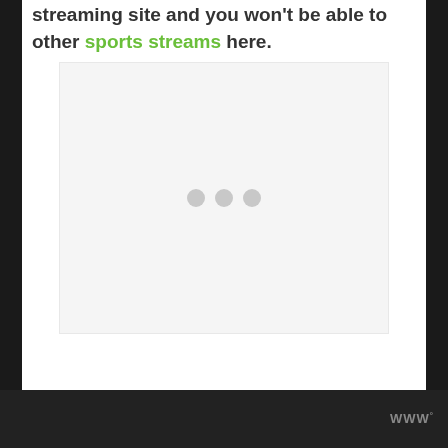streaming site and you won't be able to other sports streams here.
[Figure (other): A loading placeholder box with light gray background and three gray loading dots centered in the middle]
WWW°